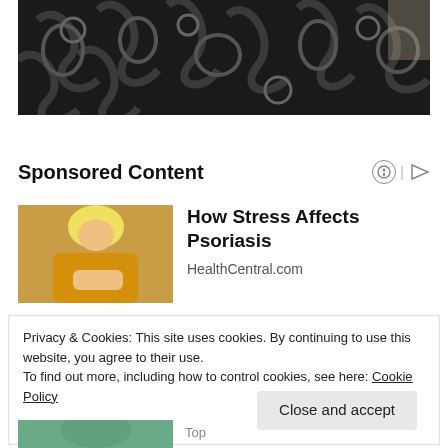[Figure (photo): Decorative ironwork or metal gate with dark swirling patterns, photographed close-up]
Sponsored Content
[Figure (photo): Woman with blonde hair wearing a yellow sweater, looking at her arm, possibly checking psoriasis]
How Stress Affects Psoriasis
HealthCentral.com
Privacy & Cookies: This site uses cookies. By continuing to use this website, you agree to their use.
To find out more, including how to control cookies, see here: Cookie Policy
[Figure (photo): Partial bottom image showing a person in a teal/green shirt]